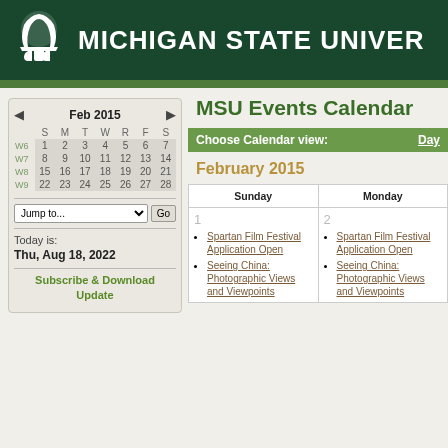MICHIGAN STATE UNIVERSITY
MSU Events Calendar
[Figure (other): Mini calendar widget showing February 2015 with week numbers W6-W9 and dates 1-28]
Choose Calendar view: Day
February 2015
| Sunday | Monday |
| --- | --- |
| 1
• Spartan Film Festival Application Open
• Seeing China: Photographic Views and Viewpoints | 2
• Spartan Film Festival Application Open
• Seeing China: Photographic Views and Viewpoints |
Today is:
Thu, Aug 18, 2022
Subscribe & Download Update